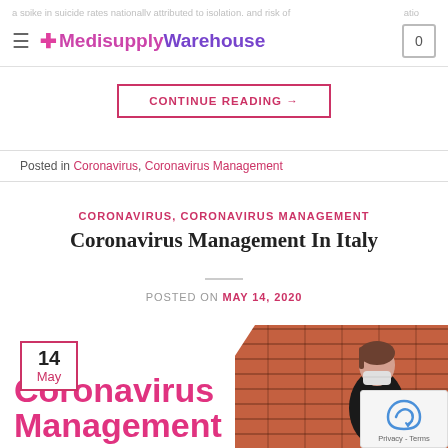MedisupplyWarehouse — navigation header with logo and cart
a spike in suicide rates nationally attributed to isolation, and risk of [...] community are worried about the impact [...]
CONTINUE READING →
Posted in Coronavirus, Coronavirus Management
CORONAVIRUS, CORONAVIRUS MANAGEMENT
Coronavirus Management In Italy
POSTED ON MAY 14, 2020
[Figure (photo): Article thumbnail showing a person wearing a face mask standing against a brick wall, with a date badge showing '14 May' and pink text 'Coronavirus Management' overlaid]